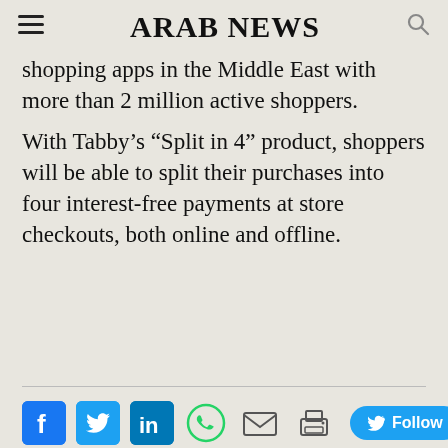ARAB NEWS
shopping apps in the Middle East with more than 2 million active shoppers.
With Tabby’s “Split in 4” product, shoppers will be able to split their purchases into four interest-free payments at store checkouts, both online and offline.
[Figure (other): Social sharing bar with Facebook, Twitter, LinkedIn, WhatsApp, email, print icons and a Twitter Follow button]
Topics: TABBY  BNPL  EGYPT